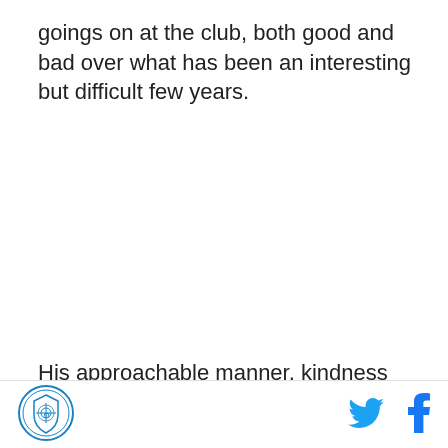goings on at the club, both good and bad over what has been an interesting but difficult few years.
His approachable manner, kindness and real passion for what was going on at our club, despite it not being
[Figure (logo): Club crest/badge logo in circular form, blue and white]
[Figure (logo): Twitter bird icon in blue]
[Figure (logo): Facebook f icon in blue]